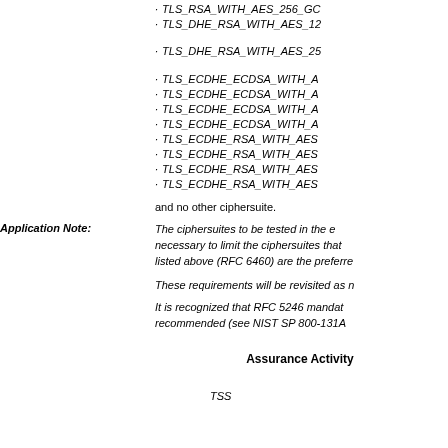TLS_RSA_WITH_AES_256_GC...
TLS_DHE_RSA_WITH_AES_12...
TLS_DHE_RSA_WITH_AES_25...
TLS_ECDHE_ECDSA_WITH_A...
TLS_ECDHE_ECDSA_WITH_A...
TLS_ECDHE_ECDSA_WITH_A...
TLS_ECDHE_ECDSA_WITH_A...
TLS_ECDHE_RSA_WITH_AES...
TLS_ECDHE_RSA_WITH_AES...
TLS_ECDHE_RSA_WITH_AES...
TLS_ECDHE_RSA_WITH_AES...
and no other ciphersuite.
Application Note: The ciphersuites to be tested in the e... necessary to limit the ciphersuites that... listed above (RFC 6460) are the preferre...
These requirements will be revisited as n...
It is recognized that RFC 5246 mandat... recommended (see NIST SP 800-131A ...
Assurance Activity
TSS